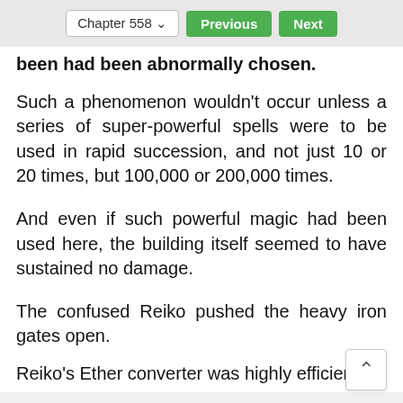Chapter 558  Previous  Next
been had been abnormally chosen.
Such a phenomenon wouldn't occur unless a series of super-powerful spells were to be used in rapid succession, and not just 10 or 20 times, but 100,000 or 200,000 times.
And even if such powerful magic had been used here, the building itself seemed to have sustained no damage.
The confused Reiko pushed the heavy iron gates open.
Reiko's Ether converter was highly efficient. It